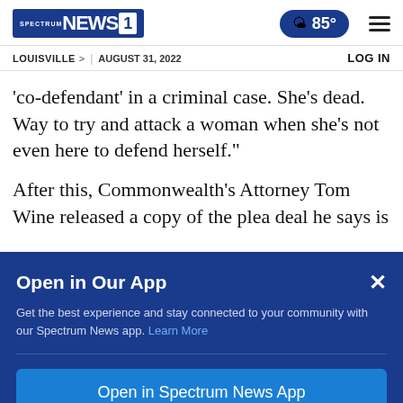Spectrum NEWS1 | 85° | LOG IN | LOUISVILLE > | AUGUST 31, 2022
'co-defendant' in a criminal case. She's dead. Way to try and attack a woman when she's not even here to defend herself."
After this, Commonwealth's Attorney Tom Wine released a copy of the plea deal he says is
Open in Our App
Get the best experience and stay connected to your community with our Spectrum News app. Learn More
Open in Spectrum News App
Continue in Browser